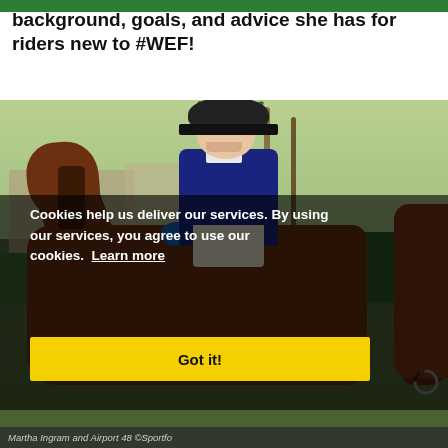background, goals, and advice she has for riders new to #WEF!
[Figure (photo): A female equestrian rider wearing a navy blue jacket and black helmet, smiling, seated on a chestnut horse with a blue ribbon, photographed outdoors with palm trees in the background at WEF (Winter Equestrian Festival). A cookie consent overlay is displayed over the lower portion of the image.]
Martha Ingram and Airport 48 ©Sportfo